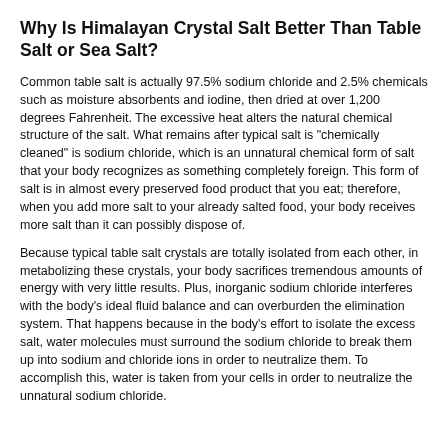Why Is Himalayan Crystal Salt Better Than Table Salt or Sea Salt?
Common table salt is actually 97.5% sodium chloride and 2.5% chemicals such as moisture absorbents and iodine, then dried at over 1,200 degrees Fahrenheit. The excessive heat alters the natural chemical structure of the salt. What remains after typical salt is "chemically cleaned" is sodium chloride, which is an unnatural chemical form of salt that your body recognizes as something completely foreign. This form of salt is in almost every preserved food product that you eat; therefore, when you add more salt to your already salted food, your body receives more salt than it can possibly dispose of.
Because typical table salt crystals are totally isolated from each other, in metabolizing these crystals, your body sacrifices tremendous amounts of energy with very little results. Plus, inorganic sodium chloride interferes with the body's ideal fluid balance and can overburden the elimination system. That happens because in the body's effort to isolate the excess salt, water molecules must surround the sodium chloride to break them up into sodium and chloride ions in order to neutralize them. To accomplish this, water is taken from your cells in order to neutralize the unnatural sodium chloride.